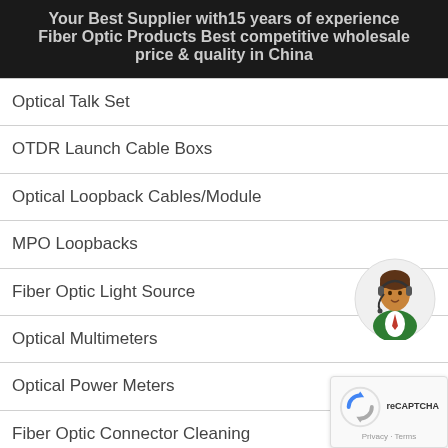Your Best Supplier with15 years of experience
Fiber Optic Products Best competitive wholesale price & quality in China
Optical Talk Set
OTDR Launch Cable Boxs
Optical Loopback Cables/Module
MPO Loopbacks
Fiber Optic Light Source
Optical Multimeters
Optical Power Meters
Fiber Optic Connector Cleaning
Fiber Cable Stripper Wire Stripping Plier
Fiber Cable Slitters
[Figure (illustration): Customer service representative icon with headset]
[Figure (illustration): reCAPTCHA widget with Privacy and Terms links]